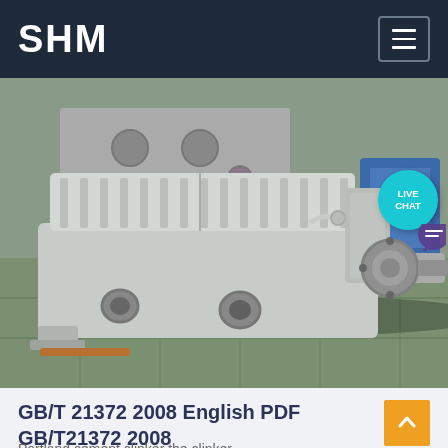SHM
[Figure (photo): Industrial gearbox / gear reducer unit photographed in a factory/warehouse setting. The large grey metal gearbox casing with ribbed top surface is sitting on a concrete floor. A drive shaft protrudes from the right side. Various equipment and metal parts are visible in the background.]
GB/T 21372 2008 English PDF GB/T21372 2008
Portland cement clinker the clinker